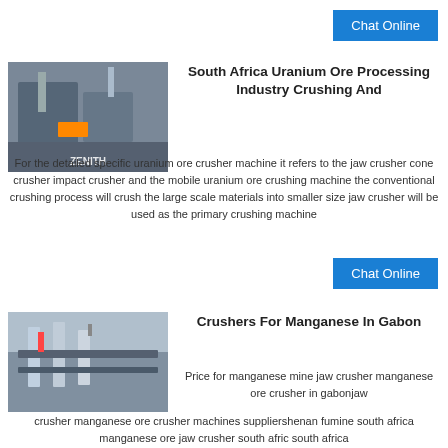Chat Online
[Figure (photo): Industrial mining/crushing equipment with ZENITH watermark]
South Africa Uranium Ore Processing Industry Crushing And
For the detailed specific uranium ore crusher machine it refers to the jaw crusher cone crusher impact crusher and the mobile uranium ore crushing machine the conventional crushing process will crush the large scale materials into smaller size jaw crusher will be used as the primary crushing machine
Chat Online
[Figure (photo): Industrial structure/processing plant equipment for manganese crushing]
Crushers For Manganese In Gabon
Price for manganese mine jaw crusher manganese ore crusher in gabonjaw crusher manganese ore crusher machines suppliershenan fumine south africa manganese ore jaw crusher south afric south africa